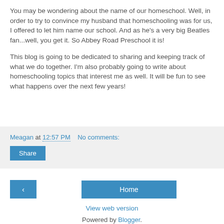You may be wondering about the name of our homeschool. Well, in order to try to convince my husband that homeschooling was for us, I offered to let him name our school. And as he's a very big Beatles fan...well, you get it. So Abbey Road Preschool it is!
This blog is going to be dedicated to sharing and keeping track of what we do together. I'm also probably going to write about homeschooling topics that interest me as well. It will be fun to see what happens over the next few years!
Meagan at 12:57 PM   No comments:
Share
< Home
View web version
Powered by Blogger.